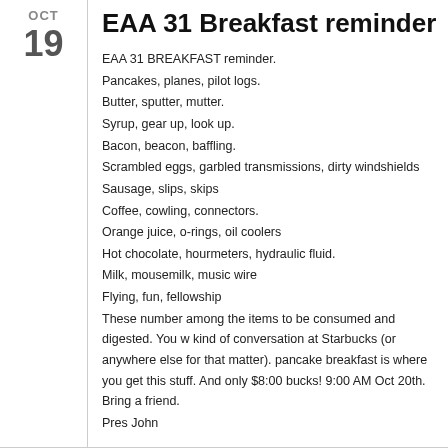EAA 31 Breakfast reminder
EAA 31 BREAKFAST reminder.
Pancakes, planes, pilot logs.
Butter, sputter, mutter.
Syrup, gear up, look up.
Bacon, beacon, baffling.
Scrambled eggs, garbled transmissions, dirty windshields
Sausage, slips, skips
Coffee, cowling, connectors.
Orange juice, o-rings, oil coolers
Hot chocolate, hourmeters, hydraulic fluid.
Milk, mousemilk, music wire
Flying, fun, fellowship
These number among the items to be consumed and digested. You w kind of conversation at Starbucks (or anywhere else for that matter). pancake breakfast is where you get this stuff. And only $8:00 bucks! 9:00 AM Oct 20th. Bring a friend.
Pres John